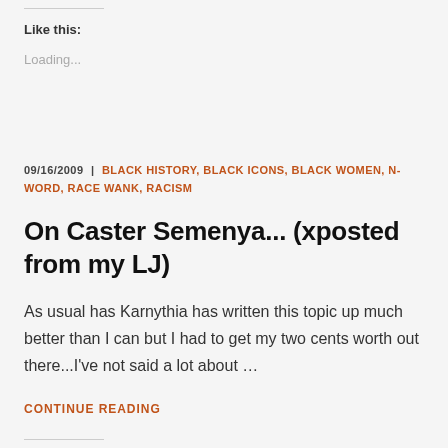Like this:
Loading...
09/16/2009 | BLACK HISTORY, BLACK ICONS, BLACK WOMEN, N-WORD, RACE WANK, RACISM
On Caster Semenya... (xposted from my LJ)
As usual has Karnythia has written this topic up much better than I can but I had to get my two cents worth out there...I've not said a lot about …
CONTINUE READING